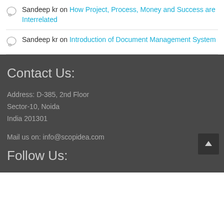Sandeep kr on How Project, Process, Money and Success are Interrelated
Sandeep kr on Introduction of Document Management System
Contact Us:
Address: D-385, 2nd Floor
Sector-10, Noida
India 201301
Mail us on: info@scopidea.com
Follow Us: